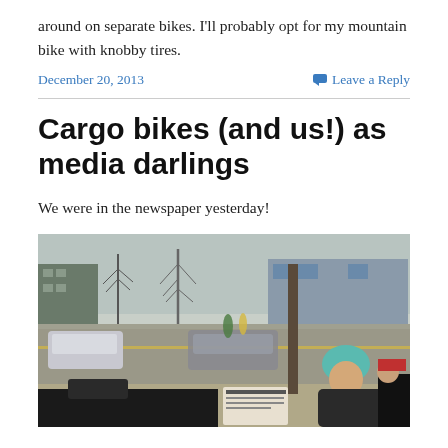around on separate bikes. I'll probably opt for my mountain bike with knobby tires.
December 20, 2013   Leave a Reply
Cargo bikes (and us!) as media darlings
We were in the newspaper yesterday!
[Figure (photo): A child wearing a teal helmet sits in a cargo bike, holding a newspaper, on a suburban road with cars and bare winter trees in the background.]